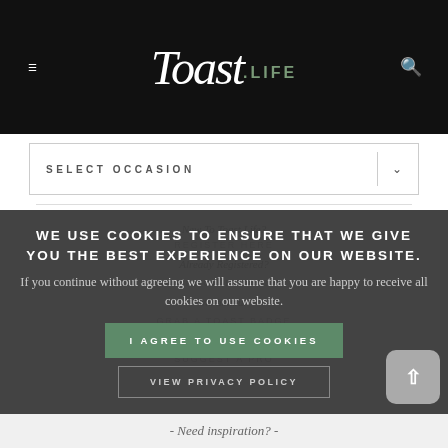[Figure (screenshot): Toast.Life website header with black background, hamburger menu icon on left, search icon on right, and Toast.Life logo in center]
SELECT OCCASION
WE USE COOKIES TO ENSURE THAT WE GIVE YOU THE BEST EXPERIENCE ON OUR WEBSITE.
If you continue without agreeing we will assume that you are happy to receive all cookies on our website.
I AGREE TO USE COOKIES
VIEW PRIVACY POLICY
- Need inspiration? -